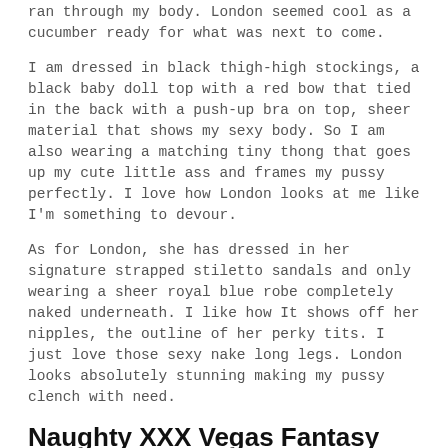ran through my body. London seemed cool as a cucumber ready for what was next to come.
I am dressed in black thigh-high stockings, a black baby doll top with a red bow that tied in the back with a push-up bra on top, sheer material that shows my sexy body. So I am also wearing a matching tiny thong that goes up my cute little ass and frames my pussy perfectly. I love how London looks at me like I'm something to devour.
As for London, she has dressed in her signature strapped stiletto sandals and only wearing a sheer royal blue robe completely naked underneath. I like how It shows off her nipples, the outline of her perky tits. I just love those sexy nake long legs. London looks absolutely stunning making my pussy clench with need.
Naughty XXX Vegas Fantasy with London and Kylie
So, after ordering room service we giggle at each other, smiling with that look in our eye that we get when we are being oh so deviant. When the guy gets to our room, I get off the bed we are sharing and open the door. The look of absolute surprise makes him look like he'd just been smacked